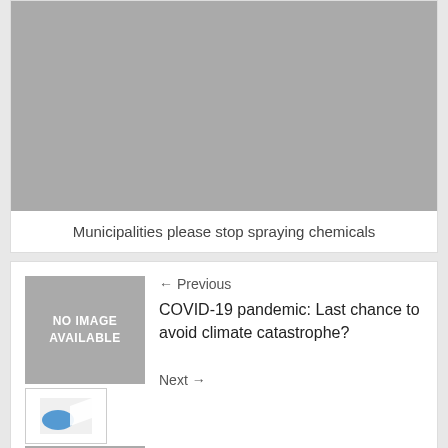[Figure (photo): Large gray placeholder image at top]
Municipalities please stop spraying chemicals
[Figure (photo): No Image Available placeholder box with gray background and white bold text]
← Previous
COVID-19 pandemic: Last chance to avoid climate catastrophe?
Next →